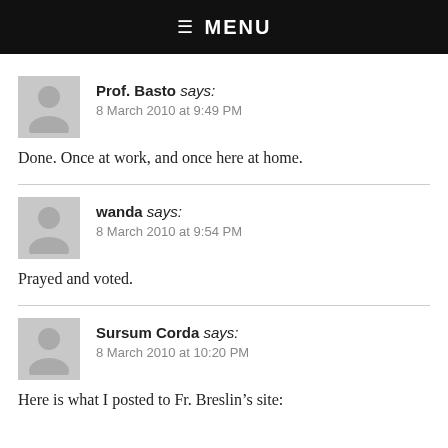☰ MENU
Prof. Basto says:
8 March 2010 at 9:49 PM
Done. Once at work, and once here at home.
wanda says:
8 March 2010 at 9:54 PM
Prayed and voted.
Sursum Corda says:
8 March 2010 at 10:20 PM
Here is what I posted to Fr. Breslin's site: